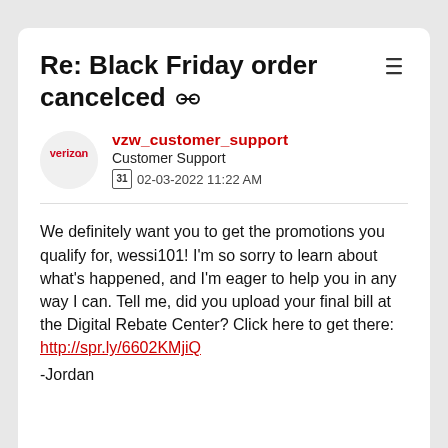Re: Black Friday order cancelced 🔗
vzw_customer_support
Customer Support
02-03-2022 11:22 AM
We definitely want you to get the promotions you qualify for, wessi101! I'm so sorry to learn about what's happened, and I'm eager to help you in any way I can. Tell me, did you upload your final bill at the Digital Rebate Center? Click here to get there: http://spr.ly/6602KMjiQ
-Jordan